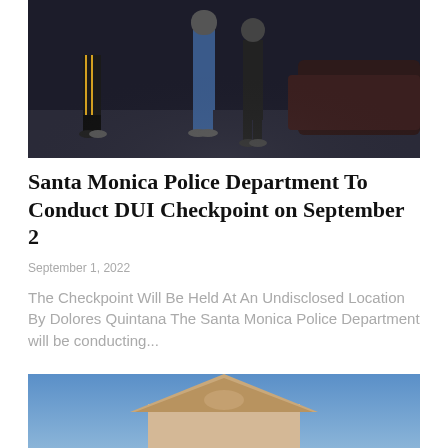[Figure (photo): Nighttime photo showing people standing near a vehicle on a dark street, likely a DUI checkpoint scene]
Santa Monica Police Department To Conduct DUI Checkpoint on September 2
September 1, 2022
The Checkpoint Will Be Held At An Undisclosed Location By Dolores Quintana The Santa Monica Police Department will be conducting...
[Figure (photo): Photo of a building with a triangular roof against a blue sky, partially visible at the bottom of the page]